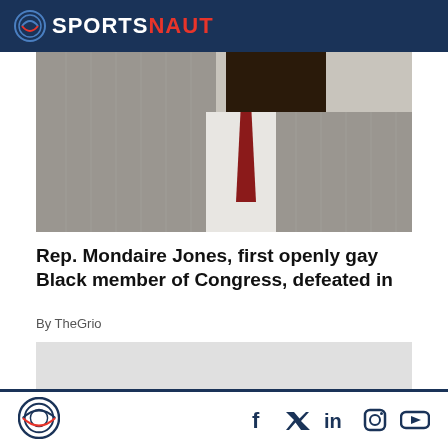SPORTSNAUT
[Figure (photo): Close-up photo of a man in a pinstripe suit with a white dress shirt and dark red/maroon tie, cropped at the neck]
Rep. Mondaire Jones, first openly gay Black member of Congress, defeated in
By TheGrio
[Figure (other): Gray placeholder/advertisement box]
Sportsnaut logo and social media icons: Facebook, Twitter, LinkedIn, Instagram, YouTube